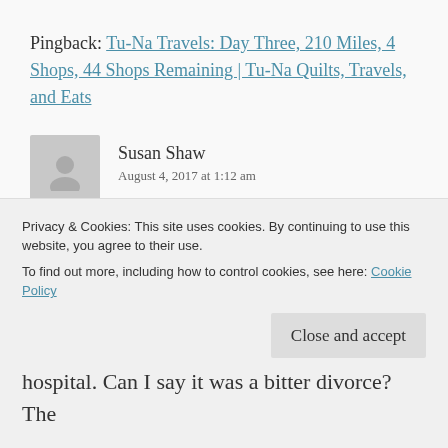Pingback: Tu-Na Travels: Day Three, 210 Miles, 4 Shops, 44 Shops Remaining | Tu-Na Quilts, Travels, and Eats
Susan Shaw
August 4, 2017 at 1:12 am
Wish I still had a husband to do a trek with me. The first one walked out on me and lives hospital. Can I say it was a bitter divorce? The
Privacy & Cookies: This site uses cookies. By continuing to use this website, you agree to their use.
To find out more, including how to control cookies, see here: Cookie Policy
Close and accept